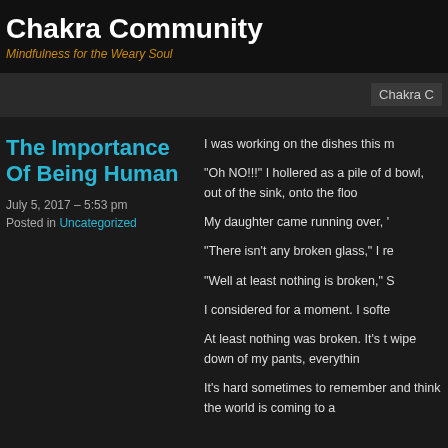Chakra Community
Mindfulness for the Weary Soul
Chakra C
The Importance Of Being Human
July 5, 2017 – 5:53 pm
Posted in Uncategorized
I was working on the dishes this m
“Oh NO!!!” I hollered as a pile of d bowl, out of the sink, onto the floo
My daughter came running over, ‘
“There isn’t any broken glass,” I re
“Well at least nothing is broken,” S
I considered for a moment. I softe
At least nothing was broken. It’s t wipe down of my pants, everythin
It’s hard sometimes to remember and think the world is coming to a